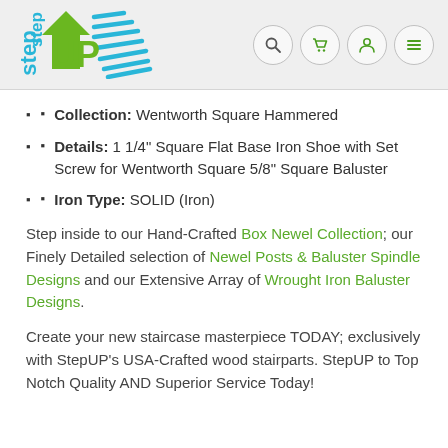[Figure (logo): StepUP logo with green UP arrow and blue step text, with blue diagonal lines]
Collection: Wentworth Square Hammered
Details: 1 1/4" Square Flat Base Iron Shoe with Set Screw for Wentworth Square 5/8" Square Baluster
Iron Type: SOLID (Iron)
Step inside to our Hand-Crafted Box Newel Collection; our Finely Detailed selection of Newel Posts & Baluster Spindle Designs and our Extensive Array of Wrought Iron Baluster Designs.
Create your new staircase masterpiece TODAY; exclusively with StepUP's USA-Crafted wood stairparts. StepUP to Top Notch Quality AND Superior Service Today!